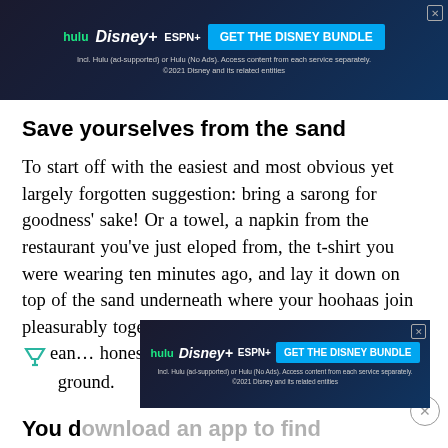[Figure (screenshot): Disney Bundle advertisement banner showing Hulu, Disney+, ESPN+ logos with 'GET THE DISNEY BUNDLE' button on dark background]
Save yourselves from the sand
To start off with the easiest and most obvious yet largely forgotten suggestion: bring a sarong for goodness' sake! Or a towel, a napkin from the restaurant you've just eloped from, the t-shirt you were wearing ten minutes ago, and lay it down on top of the sand underneath where your hoohaas join pleasurably together, and leave it there! I mean... honestly, people. It is a condom for the ground.
[Figure (screenshot): Disney Bundle advertisement banner (bottom) showing Hulu, Disney+, ESPN+ logos with 'GET THE DISNEY BUNDLE' button]
You d...